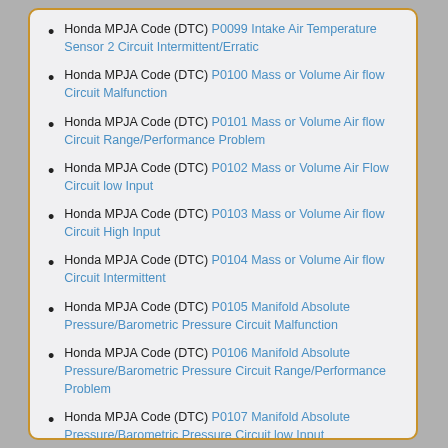Honda MPJA Code (DTC) P0099 Intake Air Temperature Sensor 2 Circuit Intermittent/Erratic
Honda MPJA Code (DTC) P0100 Mass or Volume Air flow Circuit Malfunction
Honda MPJA Code (DTC) P0101 Mass or Volume Air flow Circuit Range/Performance Problem
Honda MPJA Code (DTC) P0102 Mass or Volume Air Flow Circuit low Input
Honda MPJA Code (DTC) P0103 Mass or Volume Air flow Circuit High Input
Honda MPJA Code (DTC) P0104 Mass or Volume Air flow Circuit Intermittent
Honda MPJA Code (DTC) P0105 Manifold Absolute Pressure/Barometric Pressure Circuit Malfunction
Honda MPJA Code (DTC) P0106 Manifold Absolute Pressure/Barometric Pressure Circuit Range/Performance Problem
Honda MPJA Code (DTC) P0107 Manifold Absolute Pressure/Barometric Pressure Circuit low Input